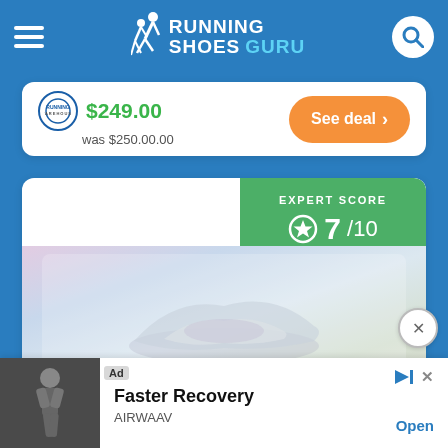Running Shoes Guru
$249.00 was $250.00.00
See deal
[Figure (infographic): Expert Score badge showing 7/10 in green]
[Figure (photo): Blurred running shoe product image]
[Figure (screenshot): Advertisement: Faster Recovery - AIRWAAV - Open]